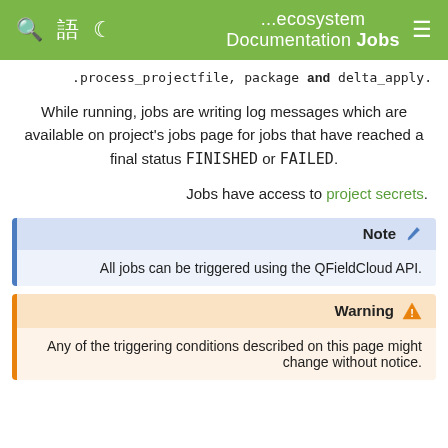...ecosystem Documentation Jobs
.process_projectfile, package and delta_apply.
While running, jobs are writing log messages which are available on project's jobs page for jobs that have reached a final status FINISHED or FAILED.
Jobs have access to project secrets.
Note
All jobs can be triggered using the QFieldCloud API.
Warning
Any of the triggering conditions described on this page might change without notice.